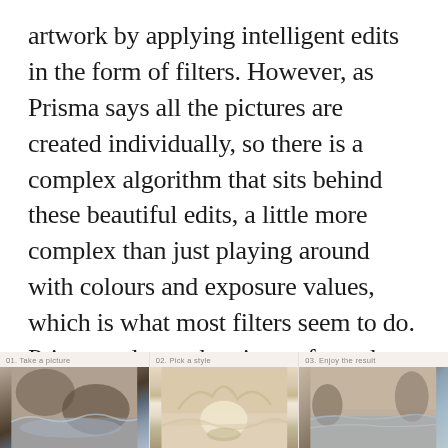artwork by applying intelligent edits in the form of filters. However, as Prisma says all the pictures are created individually, so there is a complex algorithm that sits behind these beautiful edits, a little more complex than just playing around with colours and exposure values, which is what most filters seem to do. Prisma redraws the picture from the scratch and therefore the outcome is really worth sharing.
[Figure (screenshot): Prisma app logo with triangle icon and 'PRISMA' text, followed by a three-panel screenshot showing the app workflow: 01. Take a picture (rocky coastal scene), 02. Pick a style (Great Wave painting style), 03. Enjoy the result (styled rocky scene)]